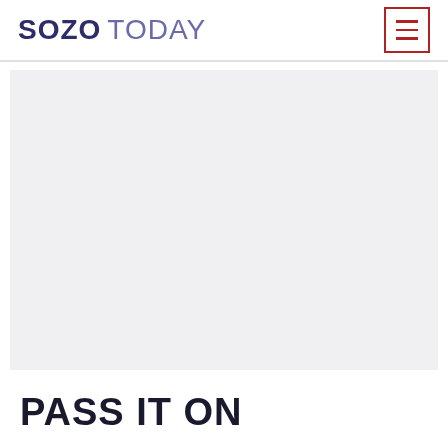SOZO TODAY
[Figure (illustration): Large white/light gray rectangular image placeholder area occupying most of the page]
PASS IT ON